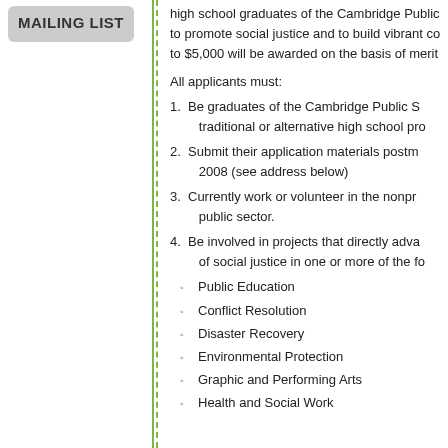MAILING LIST
high school graduates of the Cambridge Public to promote social justice and to build vibrant co to $5,000 will be awarded on the basis of merit
All applicants must:
1. Be graduates of the Cambridge Public S traditional or alternative high school pro
2. Submit their application materials postm 2008 (see address below)
3. Currently work or volunteer in the nonpr public sector.
4. Be involved in projects that directly adva of social justice in one or more of the fo
Public Education
Conflict Resolution
Disaster Recovery
Environmental Protection
Graphic and Performing Arts
Health and Social Work